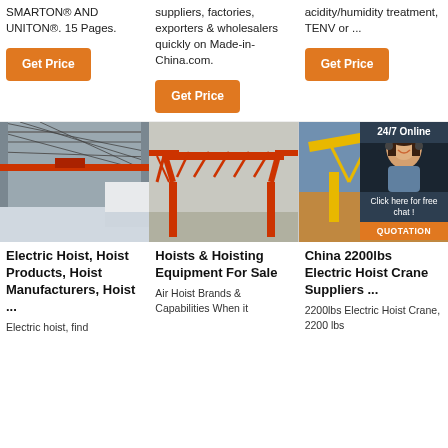SMARTON® AND UNITON®. 15 Pages.
suppliers, factories, exporters & wholesalers quickly on Made-in-China.com.
acidity/humidity treatment, TENV or ...
[Figure (other): Orange Get Price button]
[Figure (other): Orange Get Price button]
[Figure (other): Orange Get Price button]
[Figure (photo): Interior of a factory or warehouse with overhead crane on red rails]
[Figure (photo): Red gantry/portal crane structure outdoors]
[Figure (photo): Yellow crane outdoors with 24/7 Online chat overlay and woman with headset]
Electric Hoist, Hoist Products, Hoist Manufacturers, Hoist ...
Electric hoist, find
Hoists & Hoisting Equipment For Sale
Air Hoist Brands & Capabilities When it
China 2200lbs Electric Hoist Crane Suppliers ...
2200lbs Electric Hoist Crane, 2200 lbs